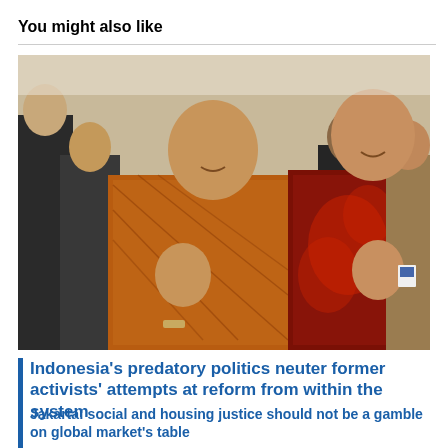You might also like
[Figure (photo): Two men in batik shirts waving, surrounded by other people in the background. A political photo likely showing Indonesian political figures.]
Indonesia's predatory politics neuter former activists' attempts at reform from within the system
Jakarta: social and housing justice should not be a gamble on global market's table